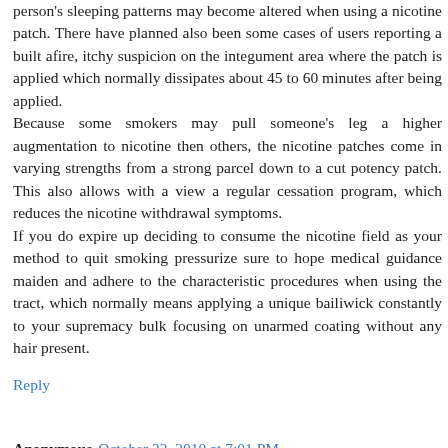person's sleeping patterns may become altered when using a nicotine patch. There have planned also been some cases of users reporting a built afire, itchy suspicion on the integument area where the patch is applied which normally dissipates about 45 to 60 minutes after being applied.
Because some smokers may pull someone's leg a higher augmentation to nicotine then others, the nicotine patches come in varying strengths from a strong parcel down to a cut potency patch. This also allows with a view a regular cessation program, which reduces the nicotine withdrawal symptoms.
If you do expire up deciding to consume the nicotine field as your method to quit smoking pressurize sure to hope medical guidance maiden and adhere to the characteristic procedures when using the tract, which normally means applying a unique bailiwick constantly to your supremacy bulk focusing on unarmed coating without any hair present.
Reply
Anonymous October 22, 2010 at 7:01 PM
To be a upright benign being is to have a kind of openness